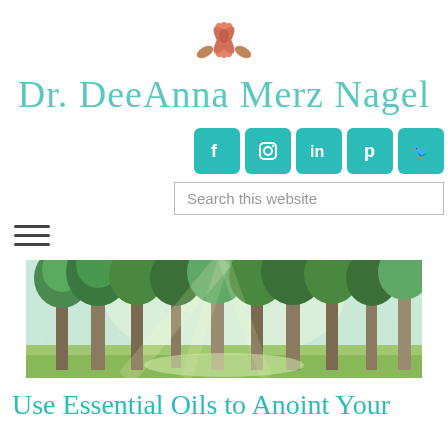[Figure (logo): Lotus flower icon in pink/coral colors at top center]
Dr. DeeAnna Merz Nagel
[Figure (infographic): Social media icon buttons in teal/turquoise for Facebook, Instagram, LinkedIn, Pinterest, Twitter]
[Figure (screenshot): Search this website input box]
[Figure (illustration): Hamburger menu icon (three horizontal lines)]
[Figure (photo): A serene forest scene with tall trees and green foliage bathed in soft misty light]
Use Essential Oils to Anoint Your